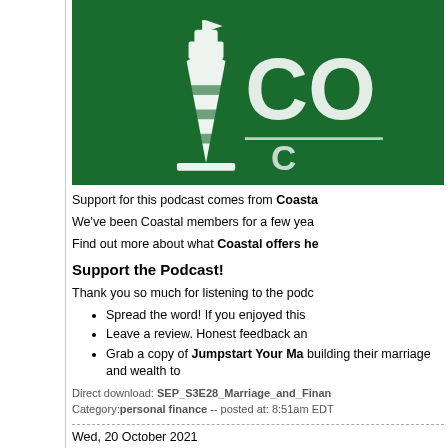[Figure (logo): Coastal credit union or similar financial institution logo on green background with white lighthouse/building icon and partial text 'CO' and 'C']
Support for this podcast comes from Coastal
We've been Coastal members for a few yea
Find out more about what Coastal offers he
Support the Podcast!
Thank you so much for listening to the podc
Spread the word! If you enjoyed this
Leave a review. Honest feedback an
Grab a copy of Jumpstart Your Ma building their marriage and wealth to
Direct download: SEP_S3E28_Marriage_and_Finan
Category: personal finance -- posted at: 8:51am EDT
Wed, 20 October 2021
[Simplify & Enjoy] B
How happy are you with your current bankin